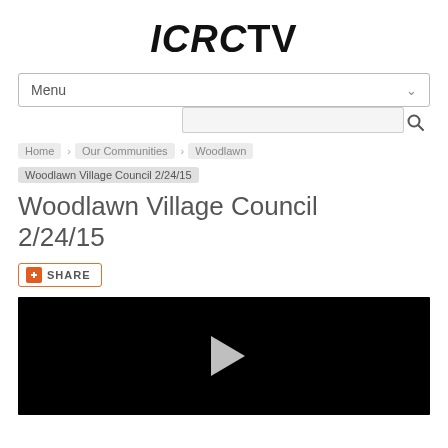ICRCTV
Menu
Home · Our Communities · Woodlawn · Woodlawn Village Council 2/24/15
Woodlawn Village Council 2/24/15
SHARE
[Figure (screenshot): Black video player with a white play button triangle in the center]